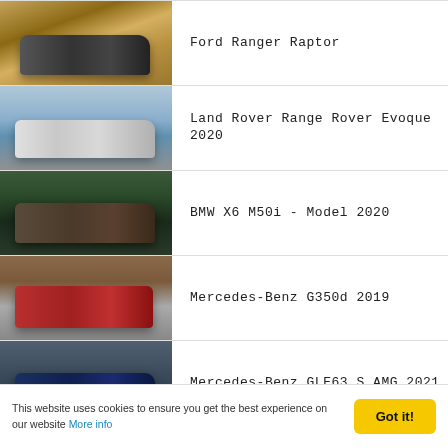Ford Ranger Raptor
Land Rover Range Rover Evoque 2020
BMW X6 M50i - Model 2020
Mercedes-Benz G350d 2019
Mercedes-Benz GLE63 S AMG 2021
This website uses cookies to ensure you get the best experience on our website More info
Got it!